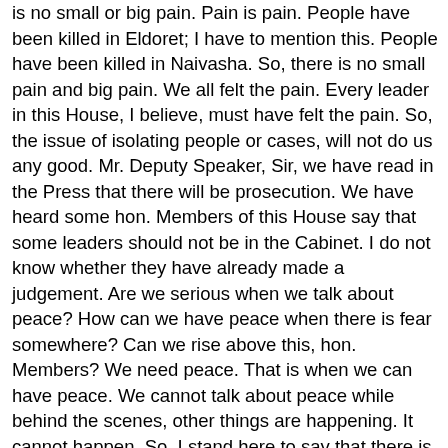is no small or big pain. Pain is pain. People have been killed in Eldoret; I have to mention this. People have been killed in Naivasha. So, there is no small pain and big pain. We all felt the pain. Every leader in this House, I believe, must have felt the pain. So, the issue of isolating people or cases, will not do us any good. Mr. Deputy Speaker, Sir, we have read in the Press that there will be prosecution. We have heard some hon. Members of this House say that some leaders should not be in the Cabinet. I do not know whether they have already made a judgement. Are we serious when we talk about peace? How can we have peace when there is fear somewhere? Can we rise above this, hon. Members? We need peace. That is when we can have peace. We cannot talk about peace while behind the scenes, other things are happening. It cannot happen. So, I stand here to say that there is still an element of fear. If we are ready for reconciliation, unless words have lost meaning, we should settle for it. When we talk of reconciliation, is there a level of reconciliation we can go to and then continue with other things or do we talk of total reconciliation? When we say that we are healing the country, what are we healing it from? We were told that the police are "going on with investigations", if I may quote the words of the Attorney-General when he spoke here the other day, and yet they are the prime suspects. How can they